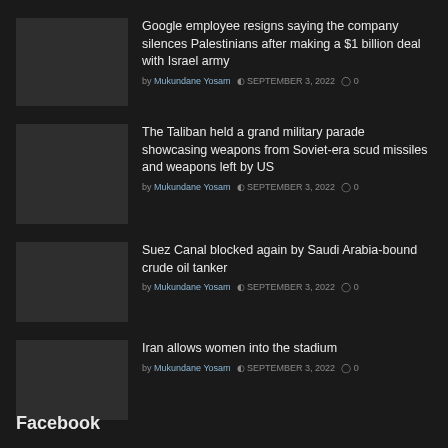Google employee resigns saying the company silences Palestinians after making a $1 billion deal with Israel army — by Mukundane Yosam, SEPTEMBER 3, 2022, 0 comments
The Taliban held a grand military parade showcasing weapons from Soviet-era scud missiles and weapons left by US — by Mukundane Yosam, SEPTEMBER 3, 2022, 0 comments
Suez Canal blocked again by Saudi Arabia-bound crude oil tanker — by Mukundane Yosam, SEPTEMBER 3, 2022, 0 comments
Iran allows women into the stadium — by Mukundane Yosam, SEPTEMBER 3, 2022, 0 comments
Facebook